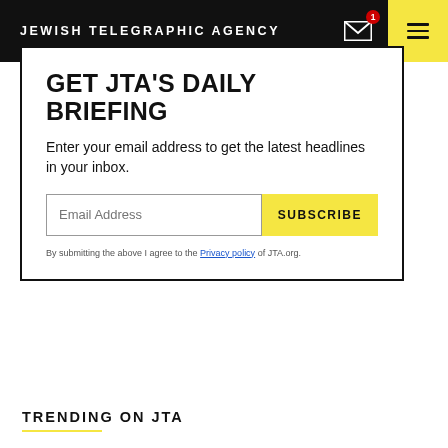JEWISH TELEGRAPHIC AGENCY
GET JTA'S DAILY BRIEFING
Enter your email address to get the latest headlines in your inbox.
By submitting the above I agree to the Privacy policy of JTA.org.
TRENDING ON JTA